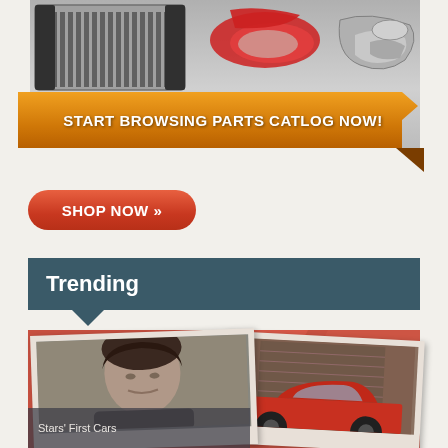[Figure (infographic): Auto parts catalog banner showing radiator, tail light/headlight assembly, and exhaust/catalytic converter on a grey background with orange ribbon banner reading START BROWSING PARTS CATLOG NOW!]
[Figure (other): Orange rounded rectangle button with text SHOP NOW >>]
Trending
[Figure (photo): Polaroid-style photo of a man with curly dark hair, and a second polaroid-style photo of a red car in a garage, overlaid on orange-red background]
Stars' First Cars